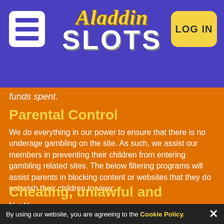[Figure (logo): Aladdin Slots website header with hamburger menu icon on the left, Aladdin Slots logo in center, and LOG IN button on the right, on a purple background.]
funds spent.
Parental Control
We do everything in our power to ensure that there is no underage gambling on the site. As such, we assist our members in preventing their children from entering gambling related sites. The below filtering programs will assist parents in blocking content or websites that they do not wish their children to view:
Net Nanny www.netnanny.com
Cybersitter www.cybersitter.com
Cheating, unlawful and
By using our website, you are agreeing to the Cookie Policy.